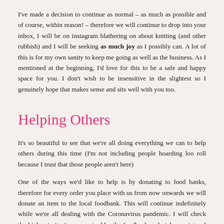I've made a decision to continue as normal – as much as possible and of course, within reason! – therefore we will continue to drop into your inbox, I will be on instagram blathering on about knitting (and other rubbish) and I will be seeking as much joy as I possibly can. A lot of this is for my own sanity to keep me going as well as the business. As I mentioned at the beginning, I'd love for this to be a safe and happy space for you. I don't wish to be insensitive in the slightest so I genuinely hope that makes sense and sits well with you too.
Helping Others
It's so beautiful to see that we're all doing everything we can to help others during this time (I'm not including people hoarding loo roll because I trust that those people aren't here)
One of the ways we'd like to help is by donating to food banks, therefore for every order you place with us from now onwards we will donate an item to the local foodbank. This will continue indefinitely while we're all dealing with the Coronavirus pandemic. I will check the high priority items required by the foodbank and pick a variety of those to ensure the donations are as useful as possible.